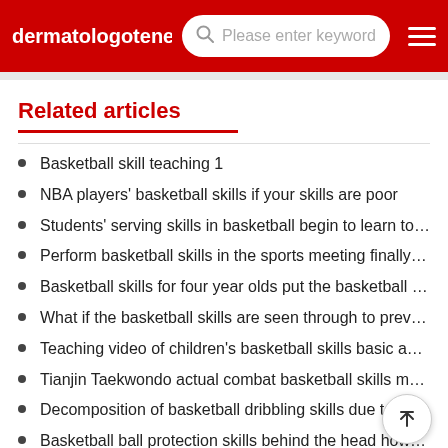dermatologotene  Please enter keyword
Related articles
Basketball skill teaching 1
NBA players' basketball skills if your skills are poor
Students' serving skills in basketball begin to learn to pla…
Perform basketball skills in the sports meeting finally find…
Basketball skills for four year olds put the basketball in y…
What if the basketball skills are seen through to prevent t…
Teaching video of children's basketball skills basic action…
Tianjin Taekwondo actual combat basketball skills must …
Decomposition of basketball dribbling skills due to lack…
Basketball ball protection skills behind the head how to …